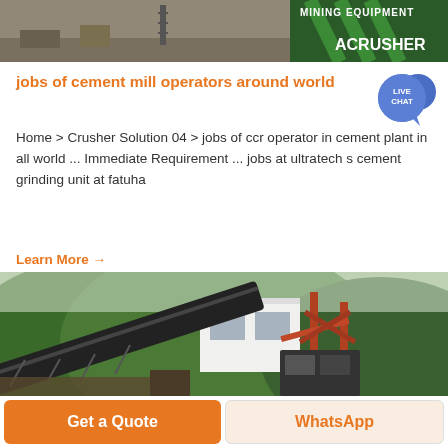[Figure (photo): Top banner showing mining/crushing equipment site on left, and ACRUSHER brand logo with green diagonal stripes on right]
jobs of cement mill operators around world
Home > Crusher Solution 04 > jobs of ccr operator in cement plant in all world ... Immediate Requirement ... jobs at ultratech s cement grinding unit at fatuha
Learn More →
[Figure (photo): Industrial mining conveyor belt and crushing equipment with a white control building, set against a green hillside background]
Get a Quote
WhatsApp